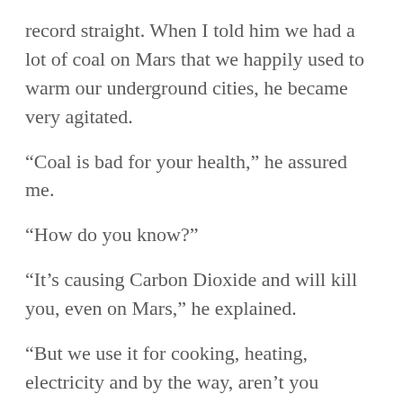record straight. When I told him we had a lot of coal on Mars that we happily used to warm our underground cities, he became very agitated.
“Coal is bad for your health,” he assured me.
“How do you know?”
“It’s causing Carbon Dioxide and will kill you, even on Mars,” he explained.
“But we use it for cooking, heating, electricity and by the way, aren’t you exhaling that stuff?”
“Too much of the same good cannot be good. We recommend people that they hold their breath,” he